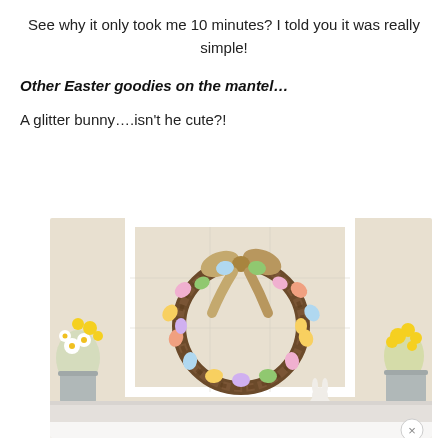See why it only took me 10 minutes? I told you it was really simple!
Other Easter goodies on the mantel…
A glitter bunny….isn't he cute?!
[Figure (photo): An Easter egg wreath made of colorful pastel plastic eggs on a grapevine wreath with a burlap bow, hanging in front of a white frame. Yellow and white flowers in silver buckets flank either side on a white mantel.]